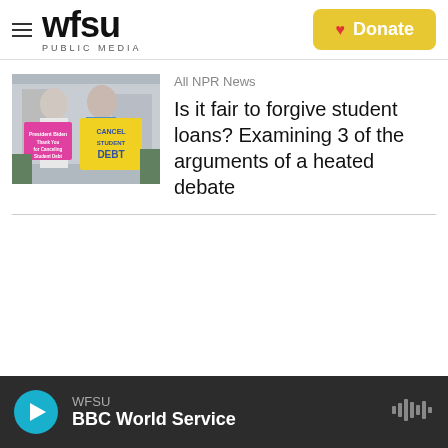WFSU PUBLIC MEDIA — Donate
[Figure (photo): People holding protest signs reading 'President Biden Thank You for Canceling Student Debt' and 'CANCEL STUDENT DEBT' at an outdoor demonstration.]
All NPR News
Is it fair to forgive student loans? Examining 3 of the arguments of a heated debate
WFSU — BBC World Service (audio player)